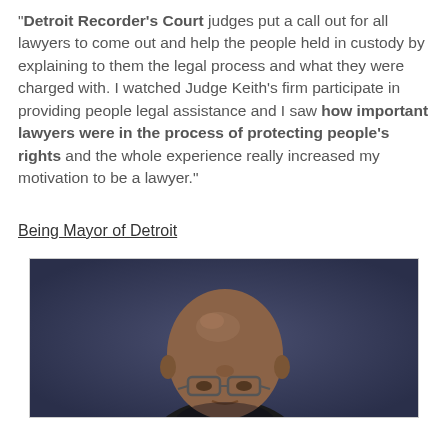“Detroit Recorder’s Court judges put a call out for all lawyers to come out and help the people held in custody by explaining to them the legal process and what they were charged with. I watched Judge Keith’s firm participate in providing people legal assistance and I saw how important lawyers were in the process of protecting people’s rights and the whole experience really increased my motivation to be a lawyer.”
Being Mayor of Detroit
[Figure (photo): Portrait photograph of a bald man wearing glasses, against a dark blue background, cropped to show head and upper shoulders.]